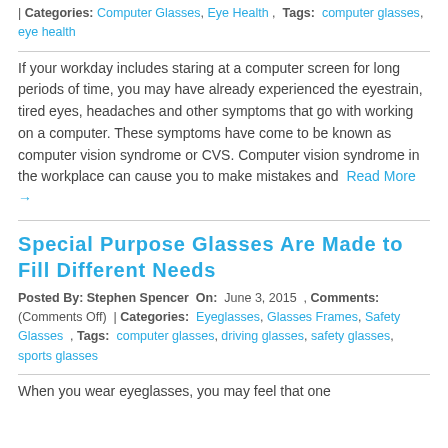| Comments: (Comments Off) | Categories: Computer Glasses, Eye Health , Tags: computer glasses, eye health
If your workday includes staring at a computer screen for long periods of time, you may have already experienced the eyestrain, tired eyes, headaches and other symptoms that go with working on a computer. These symptoms have come to be known as computer vision syndrome or CVS. Computer vision syndrome in the workplace can cause you to make mistakes and Read More →
Special Purpose Glasses Are Made to Fill Different Needs
Posted By: Stephen Spencer On: June 3, 2015 , Comments: (Comments Off) | Categories: Eyeglasses, Glasses Frames, Safety Glasses , Tags: computer glasses, driving glasses, safety glasses, sports glasses
When you wear eyeglasses, you may feel that one